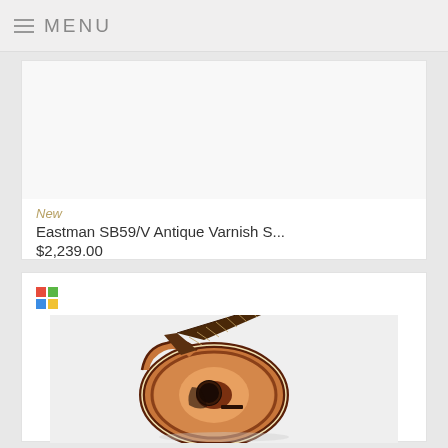≡ MENU
New
Eastman SB59/V Antique Varnish S...
$2,239.00
[Figure (photo): Acoustic-electric guitar with sunburst finish, cutaway body, photographed on white background, viewed from front at slight angle]
Colored grid icon (Microsoft-style four-square logo)